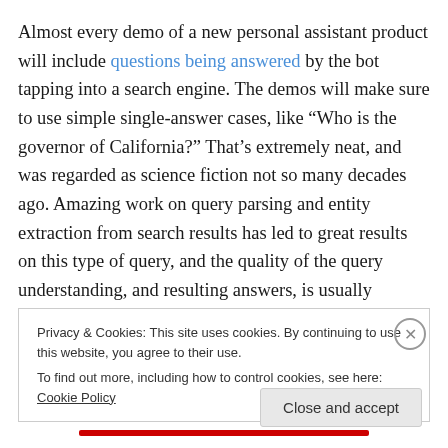Almost every demo of a new personal assistant product will include questions being answered by the bot tapping into a search engine. The demos will make sure to use simple single-answer cases, like “Who is the governor of California?” That’s extremely neat, and was regarded as science fiction not so many decades ago. Amazing work on query parsing and entity extraction from search results has led to great results on this type of query, and the quality of the query understanding, and resulting answers, is usually outstanding.
Privacy & Cookies: This site uses cookies. By continuing to use this website, you agree to their use.
To find out more, including how to control cookies, see here: Cookie Policy
Close and accept